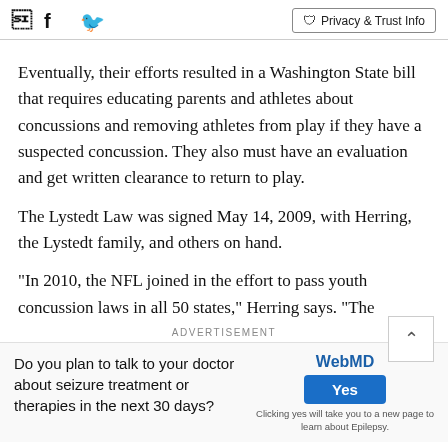Facebook Twitter | Privacy & Trust Info
Eventually, their efforts resulted in a Washington State bill that requires educating parents and athletes about concussions and removing athletes from play if they have a suspected concussion. They also must have an evaluation and get written clearance to return to play.
The Lystedt Law was signed May 14, 2009, with Herring, the Lystedt family, and others on hand.
"In 2010, the NFL joined in the effort to pass youth concussion laws in all 50 states," Herring says. "The
ADVERTISEMENT
Do you plan to talk to your doctor about seizure treatment or therapies in the next 30 days?
[Figure (logo): WebMD logo with Yes button and fine print: Clicking yes will take you to a new page to learn about Epilepsy.]